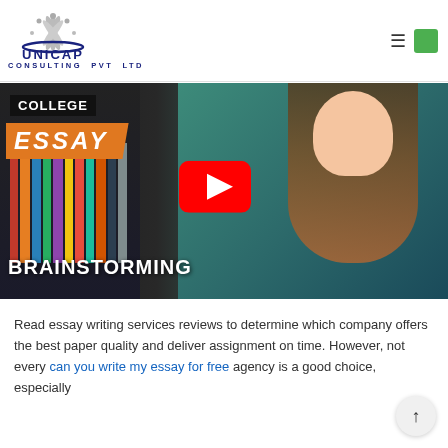[Figure (logo): Unicap Consulting Pvt Ltd logo with peacock feather icon and dark blue company name text]
[Figure (screenshot): YouTube video thumbnail showing a woman presenting, with text 'COLLEGE ESSAY BRAINSTORMING' and a YouTube play button overlay]
Read essay writing services reviews to determine which company offers the best paper quality and deliver assignment on time. However, not every can you write my essay for free agency is a good choice, especially